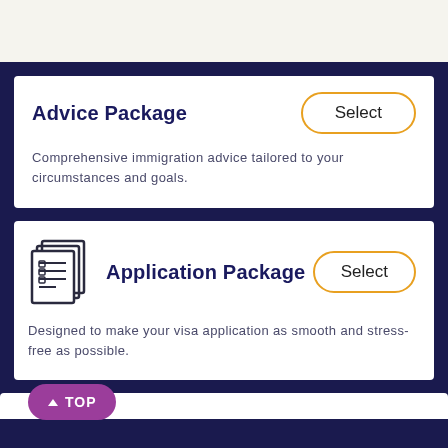Advice Package
Comprehensive immigration advice tailored to your circumstances and goals.
Application Package
Designed to make your visa application as smooth and stress-free as possible.